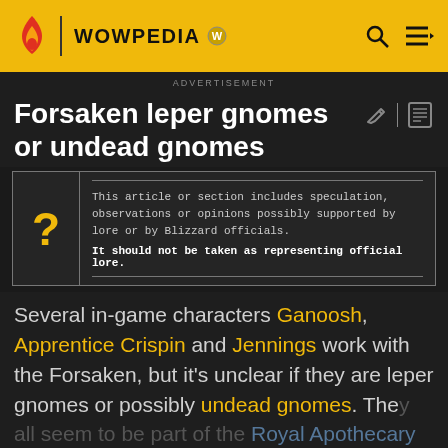WOWPEDIA
ADVERTISEMENT
Forsaken leper gnomes or undead gnomes
This article or section includes speculation, observations or opinions possibly supported by lore or by Blizzard officials. It should not be taken as representing official lore.
Several in-game characters Ganoosh, Apprentice Crispin and Jennings work with the Forsaken, but it's unclear if they are leper gnomes or possibly undead gnomes. They all seem to be part of the Royal Apothecary Society; at least, one of them does not been seen to hold much authority.
[Figure (screenshot): Best Buy advertisement banner overlay at bottom of page]